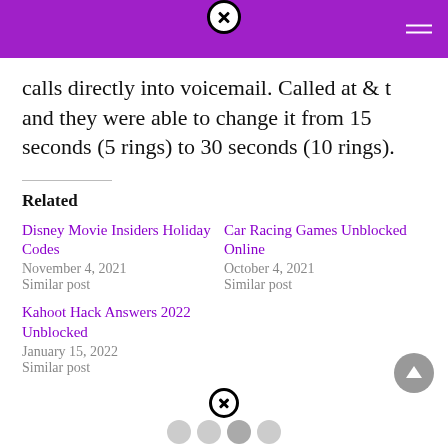calls directly into voicemail. Called at & t and they were able to change it from 15 seconds (5 rings) to 30 seconds (10 rings).
Related
Disney Movie Insiders Holiday Codes
November 4, 2021
Similar post
Car Racing Games Unblocked Online
October 4, 2021
Similar post
Kahoot Hack Answers 2022 Unblocked
January 15, 2022
Similar post